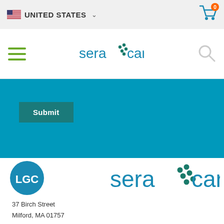UNITED STATES
[Figure (logo): SeraCare logo in navigation bar]
Submit
[Figure (logo): LGC SeraCare logo in footer area]
37 Birch Street
Milford, MA 01757